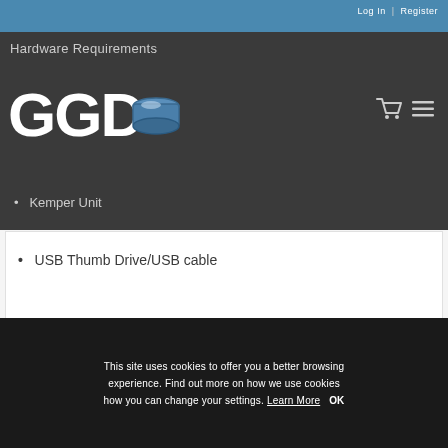Log In | Register
Hardware Requirements
[Figure (logo): GGD logo with drum icon]
Kemper Unit
USB Thumb Drive/USB cable
This site uses cookies to offer you a better browsing experience. Find out more on how we use cookies how you can change your settings. Learn More  OK